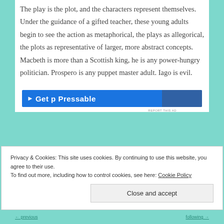The play is the plot, and the characters represent themselves. Under the guidance of a gifted teacher, these young adults begin to see the action as metaphorical, the plays as allegorical, the plots as representative of larger, more abstract concepts. Macbeth is more than a Scottish king, he is any power-hungry politician. Prospero is any puppet master adult. Iago is evil.
[Figure (other): Blue banner advertisement for 'Get Pressable' with logo and image]
REPORT THIS AD
Privacy & Cookies: This site uses cookies. By continuing to use this website, you agree to their use.
To find out more, including how to control cookies, see here: Cookie Policy
Close and accept
...